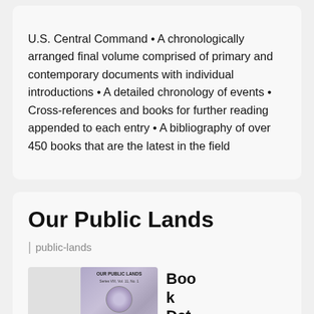U.S. Central Command • A chronologically arranged final volume comprised of primary and contemporary documents with individual introductions • A detailed chronology of events • Cross-references and books for further reading appended to each entry • A bibliography of over 450 books that are the latest in the field
Our Public Lands
| public-lands
[Figure (photo): Cover image of 'Our Public Lands' publication, Series VIII, Vol. 11, No. 1, showing a circular seal/emblem]
Book Det